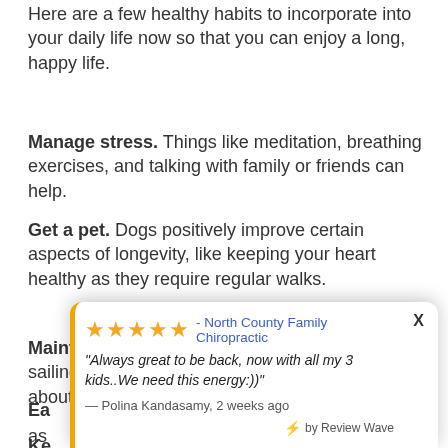Here are a few healthy habits to incorporate into your daily life now so that you can enjoy a long, happy life.
Manage stress. Things like meditation, breathing exercises, and talking with family or friends can help.
Get a pet. Dogs positively improve certain aspects of longevity, like keeping your heart healthy as they require regular walks.
Maintain a purpose. Retirement doesn't mean sailing off into the sunset. Find a cause you care about and continue to work toward a goal.
[Figure (other): A review popup widget showing 5 stars rating for North County Family Chiropractic with review text: 'Always great to be back, now with all my 3 kids..We need this energy:))' by Polina Kandasamy, 2 weeks ago, powered by Review Wave. Has an X close button.]